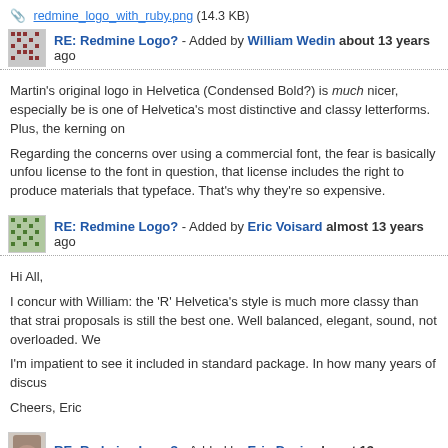📎 redmine_logo_with_ruby.png (14.3 KB)
RE: Redmine Logo? - Added by William Wedin about 13 years ago
Martin's original logo in Helvetica (Condensed Bold?) is much nicer, especially be is one of Helvetica's most distinctive and classy letterforms. Plus, the kerning on
Regarding the concerns over using a commercial font, the fear is basically unfou license to the font in question, that license includes the right to produce materials that typeface. That's why they're so expensive.
RE: Redmine Logo? - Added by Eric Voisard almost 13 years ago
Hi All,
I concur with William: the 'R' Helvetica's style is much more classy than that strai proposals is still the best one. Well balanced, elegant, sound, not overloaded. We
I'm impatient to see it included in standard package. In how many years of discus
Cheers, Eric
RE: Redmine Logo? - Added by Eric Davis almost 13 years ago
Eric Voisard wrote:
I'm impatient to see it included in standard package. In how many years o
I'm still waiting for someone to take up my offer and tweak the SVG from Martin. suggestions/tweaks are welcome.